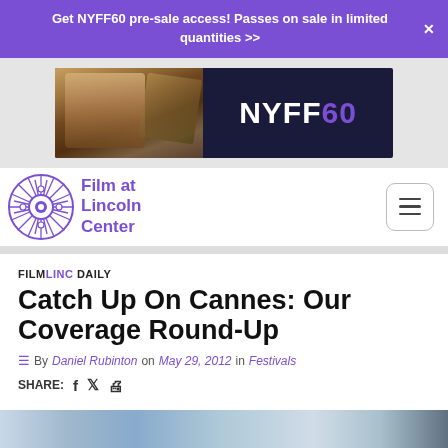Get NYFF60 pre-sale access! Passes on sale in limited quantities >>
[Figure (photo): NYFF60 advertisement banner showing a woman in vintage portrait painting style on the left, with NYFF60 logo on dark background on the right]
[Figure (logo): Film at Lincoln Center logo with film reel icon in purple and text 'Film at Lincoln Center']
FILMLINC DAILY
Catch Up On Cannes: Our Coverage Round-Up
By Daniel Rubinton on May 29, 2012 in Festivals
SHARE:
[Figure (photo): Bottom partial photo showing outdoor scene with blue sky]